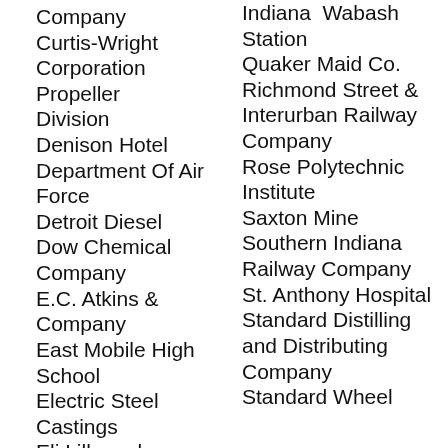Company
Curtis-Wright Corporation Propeller Division
Denison Hotel
Department Of Air Force
Detroit Diesel
Dow Chemical Company
E.C. Atkins & Company
East Mobile High School
Electric Steel Castings
Eli Lilly and Company
Indiana Wabash Station
Quaker Maid Co.
Richmond Street & Interurban Railway Company
Rose Polytechnic Institute
Saxton Mine
Southern Indiana Railway Company
St. Anthony Hospital
Standard Distilling and Distributing Company
Standard Wheel